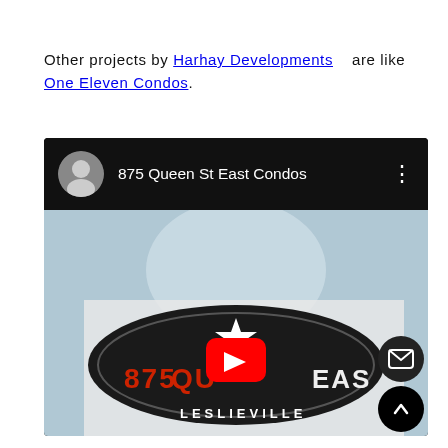Other projects by Harhay Developments are like One Eleven Condos.
[Figure (screenshot): YouTube video embed showing '875 Queen St East Condos' with a channel avatar, video title in white on black bar, and a thumbnail of the 875 Queen East / Leslieville sign with a red YouTube play button overlay.]